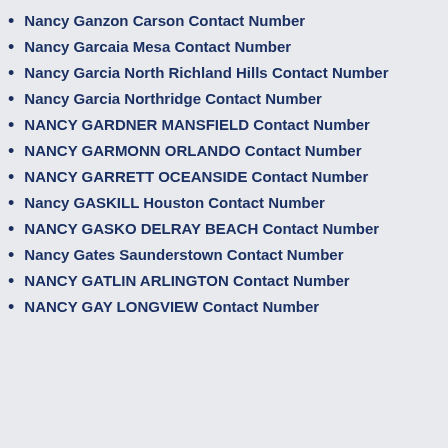Nancy Ganzon Carson Contact Number
Nancy Garcaia Mesa Contact Number
Nancy Garcia North Richland Hills Contact Number
Nancy Garcia Northridge Contact Number
NANCY GARDNER MANSFIELD Contact Number
NANCY GARMONN ORLANDO Contact Number
NANCY GARRETT OCEANSIDE Contact Number
Nancy GASKILL Houston Contact Number
NANCY GASKO DELRAY BEACH Contact Number
Nancy Gates Saunderstown Contact Number
NANCY GATLIN ARLINGTON Contact Number
NANCY GAY LONGVIEW Contact Number